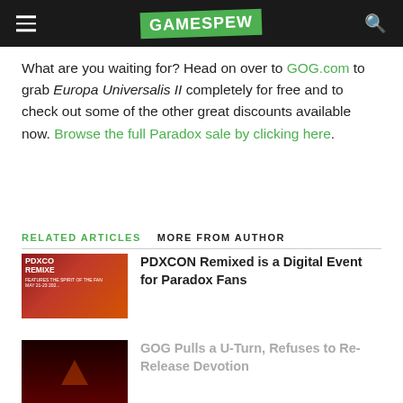GAMESPEW
What are you waiting for? Head on over to GOG.com to grab Europa Universalis II completely for free and to check out some of the other great discounts available now. Browse the full Paradox sale by clicking here.
RELATED ARTICLES   MORE FROM AUTHOR
PDXCON Remixed is a Digital Event for Paradox Fans
GOG Pulls a U-Turn, Refuses to Re-Release Devotion